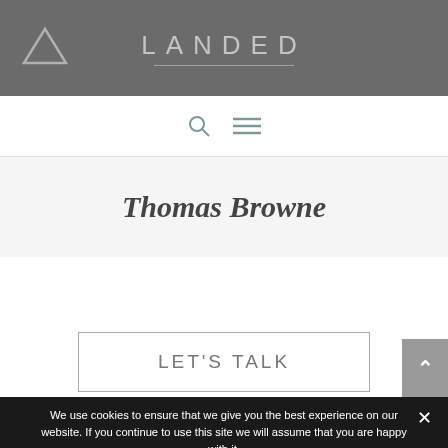LANDED
[Figure (logo): Triangle logo icon on left, LANDED brand text centered with underline, on dark gray header bar]
[Figure (infographic): Navigation strip with search icon (magnifying glass) and hamburger menu icon]
Thomas Browne
LET'S TALK
We use cookies to ensure that we give you the best experience on our website. If you continue to use this site we will assume that you are happy with it.
Ok